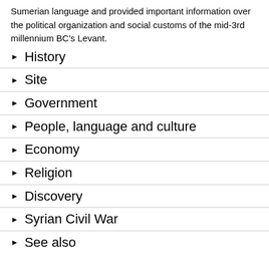Sumerian language and provided important information over the political organization and social customs of the mid-3rd millennium BC's Levant.
History
Site
Government
People, language and culture
Economy
Religion
Discovery
Syrian Civil War
See also